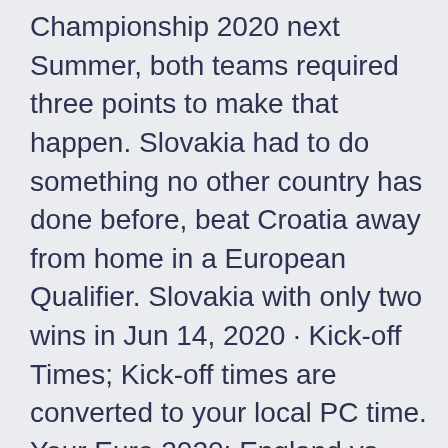Championship 2020 next Summer, both teams required three points to make that happen. Slovakia had to do something no other country has done before, beat Croatia away from home in a European Qualifier. Slovakia with only two wins in Jun 14, 2020 · Kick-off Times; Kick-off times are converted to your local PC time. Your Euro 2020: England vs Croatia tickets will be delivered by Royal Mail and FedEx International. With our ticket guarantee you can buy Euro 2020: England vs Croatia tickets with confidence so you can enjoy the match at Wembley Stadium in London on Sunday, 14:00.